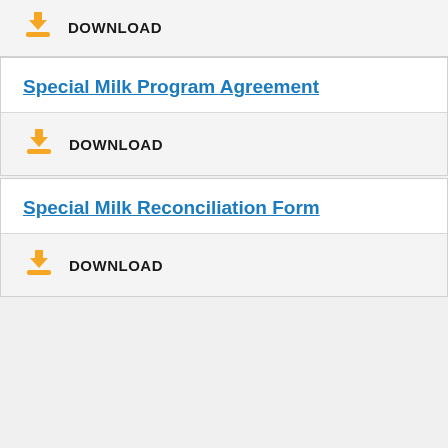DOWNLOAD
Special Milk Program Agreement
DOWNLOAD
Special Milk Reconciliation Form
DOWNLOAD